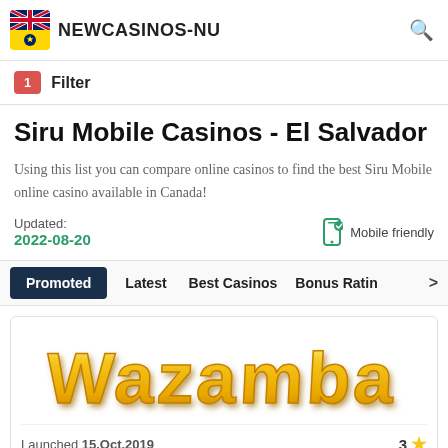NEWCASINOS-NU
1 Filter
Siru Mobile Casinos - El Salvador
Using this list you can compare online casinos to find the best Siru Mobile online casino available in Canada!
Updated: 2022-08-20  Mobile friendly
Promoted  Latest  Best Casinos  Bonus Rating
[Figure (logo): Wazamba casino logo in large yellow 3D style lettering]
Launched 15.Oct.2019   3 ★